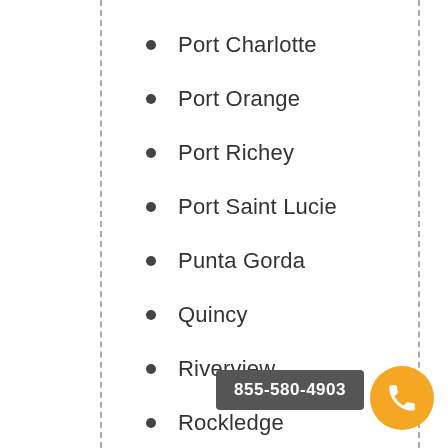Port Charlotte
Port Orange
Port Richey
Port Saint Lucie
Punta Gorda
Quincy
Riverview
Rockledge
Royal Palm Beach
Ruskin
855-580-4903